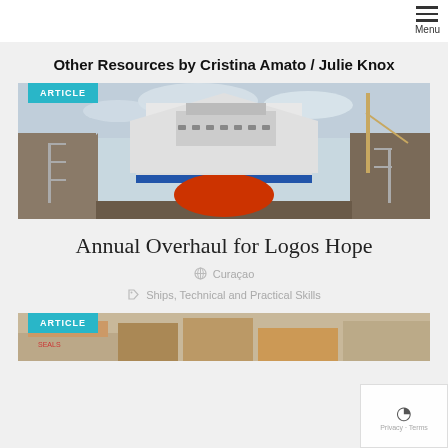Menu
Other Resources by Cristina Amato / Julie Knox
ARTICLE
[Figure (photo): A large cruise ship (Logos Hope) in a dry dock, viewed from the front, with industrial surroundings and cranes visible.]
Annual Overhaul for Logos Hope
Curaçao
Ships, Technical and Practical Skills
ARTICLE
[Figure (photo): Partial view of boxes and supplies, second article image.]